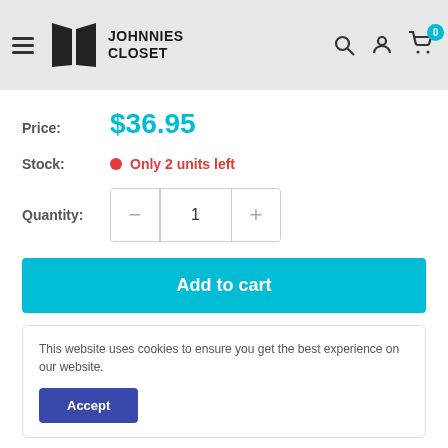Johnnies Closet — navigation header with hamburger menu, logo, search, account, and cart icons
Price: $36.95
Stock: Only 2 units left
Quantity: 1
Add to cart
This website uses cookies to ensure you get the best experience on our website.
Accept
D